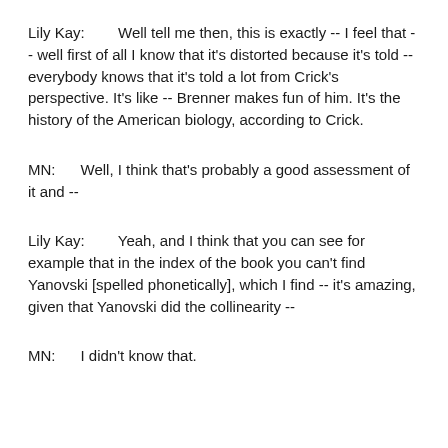Lily Kay:        Well tell me then, this is exactly -- I feel that -- well first of all I know that it's distorted because it's told -- everybody knows that it's told a lot from Crick's perspective. It's like -- Brenner makes fun of him. It's the history of the American biology, according to Crick.
MN:      Well, I think that's probably a good assessment of it and --
Lily Kay:        Yeah, and I think that you can see for example that in the index of the book you can't find Yanovski [spelled phonetically], which I find -- it's amazing, given that Yanovski did the collinearity --
MN:      I didn't know that.